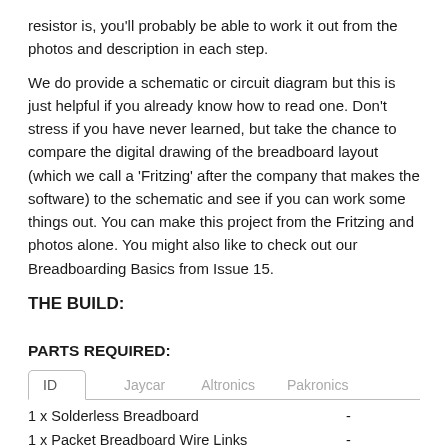resistor is, you'll probably be able to work it out from the photos and description in each step.
We do provide a schematic or circuit diagram but this is just helpful if you already know how to read one. Don't stress if you have never learned, but take the chance to compare the digital drawing of the breadboard layout (which we call a 'Fritzing' after the company that makes the software) to the schematic and see if you can work some things out. You can make this project from the Fritzing and photos alone. You might also like to check out our Breadboarding Basics from Issue 15.
THE BUILD:
PARTS REQUIRED:
| ID | Jaycar | Altronics | Pakronics |
| --- | --- | --- | --- |
| 1 x Solderless Breadboard |  | - |  |
| 1 x Packet Breadboard Wire Links |  | - |  |
| 2 x 330Ω Resistors |  | R1, R4 |  |
| 2 x 10kΩ Resistors |  | R2, R3 |  |